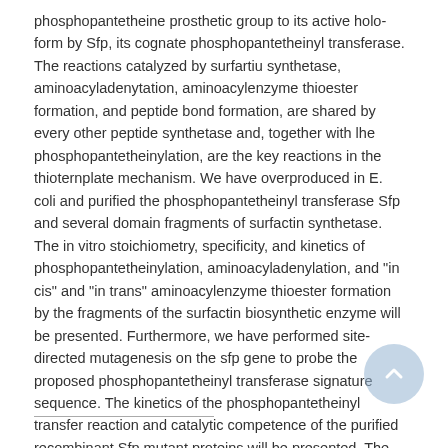phosphopantetheine prosthetic group to its active holo- form by Sfp, its cognate phosphopantetheinyl transferase. The reactions catalyzed by surfartiu synthetase, aminoacyladenytation, aminoacylenzyme thioester formation, and peptide bond formation, are shared by every other peptide synthetase and, together with lhe phosphopantetheinylation, are the key reactions in the thioternplate mechanism. We have overproduced in E. coli and purified the phosphopantetheinyl transferase Sfp and several domain fragments of surfactin synthetase. The in vitro stoichiometry, specificity, and kinetics of phosphopantetheinylation, aminoacyladenylation, and "in cis" and "in trans" aminoacylenzyme thioester formation by the fragments of the surfactin biosynthetic enzyme will be presented. Furthermore, we have performed site-directed mutagenesis on the sfp gene to probe the proposed phosphopantetheinyl transferase signature sequence. The kinetics of the phosphopantetheinyl transfer reaction and catalytic competence of the purified recombinant Sfp mutant proteins will be presented. The results validate the relevance of several residues in the transferase signature sequence.